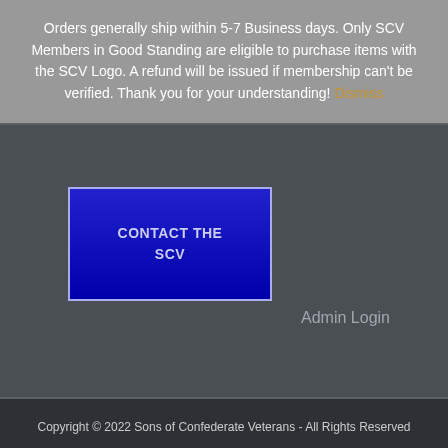Orders generally ship within 5-7 Business days. Only SCV Members in Good Standing are eligible to purchase items with the SCV Logo. A refund will be issued if membership can't be verified. Thank you for your understanding! Dismiss
[Figure (other): Blue gradient button labeled CONTACT THE SCV]
Admin Login
Copyright © 2022 Sons of Confederate Veterans - All Rights Reserved